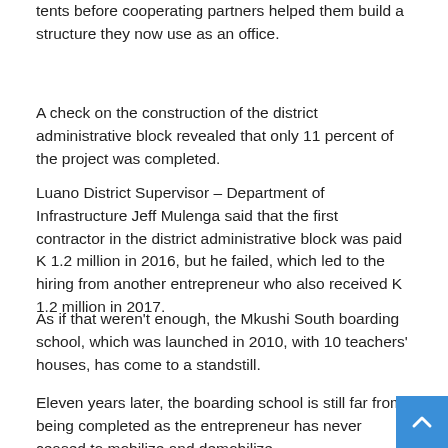tents before cooperating partners helped them build a structure they now use as an office.
A check on the construction of the district administrative block revealed that only 11 percent of the project was completed.
Luano District Supervisor – Department of Infrastructure Jeff Mulenga said that the first contractor in the district administrative block was paid K 1.2 million in 2016, but he failed, which led to the hiring from another entrepreneur who also received K 1.2 million in 2017.
As if that weren't enough, the Mkushi South boarding school, which was launched in 2010, with 10 teachers' houses, has come to a standstill.
Eleven years later, the boarding school is still far from being completed as the entrepreneur has never ceased to mobilize and demobilize.